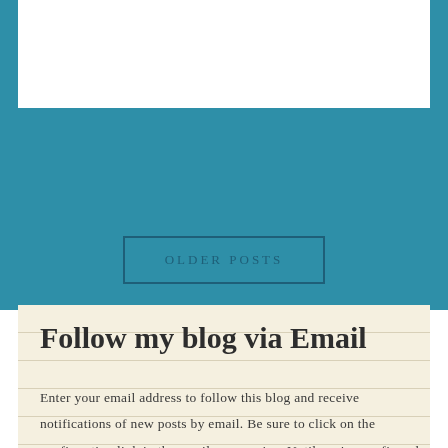OLDER POSTS
Follow my blog via Email
Enter your email address to follow this blog and receive notifications of new posts by email. Be sure to click on the confirmation link in the email you receive. Until you've confirmed your subscription request, you won't receive email notifications for new posts and updates. Thanks!!